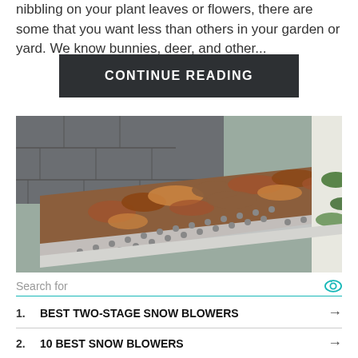nibbling on your plant leaves or flowers, there are some that you want less than others in your garden or yard. We know bunnies, deer, and other...
CONTINUE READING
[Figure (photo): Close-up photo of a clogged house gutter filled with dried leaves and debris, with a perforated metal gutter guard visible, gray roof shingles on the left and a white wall on the right.]
Search for
1. BEST TWO-STAGE SNOW BLOWERS
2. 10 BEST SNOW BLOWERS
Ad | Business Focus